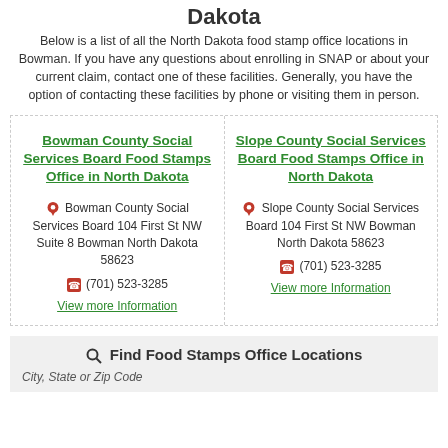Dakota
Below is a list of all the North Dakota food stamp office locations in Bowman. If you have any questions about enrolling in SNAP or about your current claim, contact one of these facilities. Generally, you have the option of contacting these facilities by phone or visiting them in person.
Bowman County Social Services Board Food Stamps Office in North Dakota
📍 Bowman County Social Services Board 104 First St NW Suite 8 Bowman North Dakota 58623
📞 (701) 523-3285
View more Information
Slope County Social Services Board Food Stamps Office in North Dakota
📍 Slope County Social Services Board 104 First St NW Bowman North Dakota 58623
📞 (701) 523-3285
View more Information
🔍 Find Food Stamps Office Locations
City, State or Zip Code